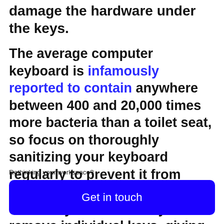damage the hardware under the keys.
The average computer keyboard is infamously reported to contain anywhere between 400 and 20,000 times more bacteria than a toilet seat, so focus on thoroughly sanitizing your keyboard regularly to prevent it from becoming a health hazard. Some keyboards allow you to remove individual keys, giving you access to the areas where most of the dirt...
Rethinking your workspace?
Get in touch